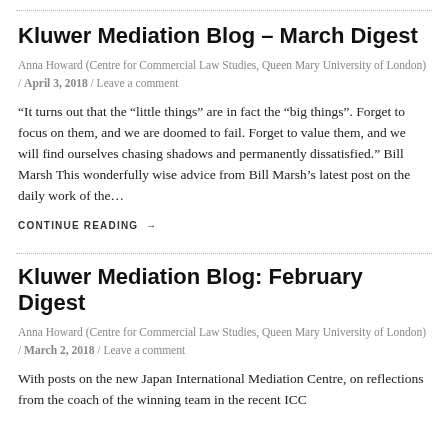Kluwer Mediation Blog – March Digest
Anna Howard (Centre for Commercial Law Studies, Queen Mary University of London) / April 3, 2018 / Leave a comment
“It turns out that the “little things” are in fact the “big things”. Forget to focus on them, and we are doomed to fail. Forget to value them, and we will find ourselves chasing shadows and permanently dissatisfied.” Bill Marsh This wonderfully wise advice from Bill Marsh’s latest post on the daily work of the…
CONTINUE READING →
Kluwer Mediation Blog: February Digest
Anna Howard (Centre for Commercial Law Studies, Queen Mary University of London) / March 2, 2018 / Leave a comment
With posts on the new Japan International Mediation Centre, on reflections from the coach of the winning team in the recent ICC